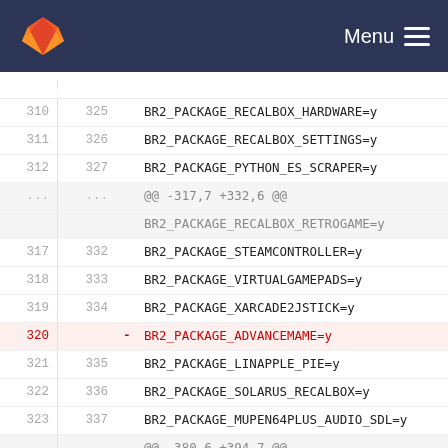[Figure (screenshot): GitLab navigation header bar with fox logo and Menu hamburger icon on dark navy background]
| old | new | sign | code |
| --- | --- | --- | --- |
| 310 | 325 |  | BR2_PACKAGE_RECALBOX_HARDWARE=y |
| 311 | 326 |  | BR2_PACKAGE_RECALBOX_SETTINGS=y |
| 312 | 327 |  | BR2_PACKAGE_PYTHON_ES_SCRAPER=y |
| ... | ... |  | @@ -317,7 +332,6 @@ |
|  |  |  | BR2_PACKAGE_RECALBOX_RETROGAME=y |
| 317 | 332 |  | BR2_PACKAGE_STEAMCONTROLLER=y |
| 318 | 333 |  | BR2_PACKAGE_VIRTUALGAMEPADS=y |
| 319 | 334 |  | BR2_PACKAGE_XARCADE2JSTICK=y |
| 320 |  | - | BR2_PACKAGE_ADVANCEMAME=y |
| 321 | 335 |  | BR2_PACKAGE_LINAPPLE_PIE=y |
| 322 | 336 |  | BR2_PACKAGE_SOLARUS_RECALBOX=y |
| 323 | 337 |  | BR2_PACKAGE_MUPEN64PLUS_AUDIO_SDL=y |
| ... | ... |  | @@ -380,6 +394,7 @@ |
|  |  |  | BR2_PACKAGE_LIBRETRO_MAME2003_PLUS=y |
| 380 | 394 |  | BR2_PACKAGE_LIBRETRO_MAME2003=y |
| 381 | 395 |  | BR2_PACKAGE_LIBRETRO_MAME2010=y |
| 382 | 396 |  | BR2_PACKAGE_LIBRETRO_MAME2015=y |
|  | 397 | + | BR2_PACKAGE_ADVANCEMAME=y |
| 383 | 398 |  | BR2_PACKAGE_LIBRETRO_MELONDS=y |
| 384 | 399 |  | BR2_PACKAGE_LIBRETRO_METEOR=y |